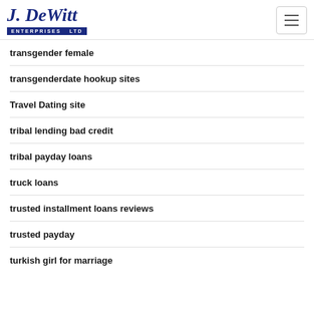J. DeWitt Enterprises Ltd
transgender female
transgenderdate hookup sites
Travel Dating site
tribal lending bad credit
tribal payday loans
truck loans
trusted installment loans reviews
trusted payday
turkish girl for marriage